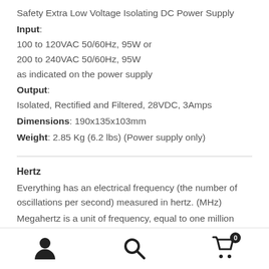Safety Extra Low Voltage Isolating DC Power Supply
Input: 100 to 120VAC 50/60Hz, 95W or 200 to 240VAC 50/60Hz, 95W as indicated on the power supply
Output: Isolated, Rectified and Filtered, 28VDC, 3Amps
Dimensions: 190x135x103mm
Weight: 2.85 Kg (6.2 lbs) (Power supply only)
Hertz
Everything has an electrical frequency (the number of oscillations per second) measured in hertz. (MHz)
Megahertz is a unit of frequency, equal to one million
Navigation bar with user, search, and cart icons